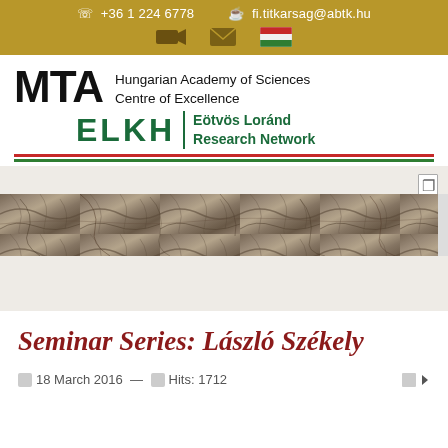☎ +36 1 224 6778  ✉ fi.titkarsag@abtk.hu
[Figure (logo): MTA Hungarian Academy of Sciences Centre of Excellence / ELKH Eötvös Loránd Research Network logo]
[Figure (photo): Photograph of rock/stone surface texture used as a decorative header image strip]
Seminar Series: László Székely
📅 18 March 2016 — 👁 Hits: 1712